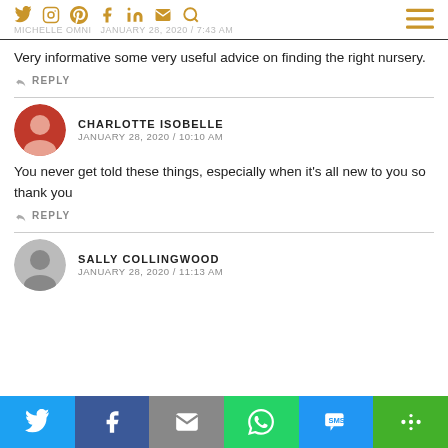Social icons and navigation header: Twitter, Instagram, Pinterest, Facebook, LinkedIn, Email, Search | MICHELLE OMNI | JANUARY 28, 2020 / 7:43 AM
Very informative some very useful advice on finding the right nursery.
REPLY
CHARLOTTE ISOBELLE
JANUARY 28, 2020 / 10:10 AM
You never get told these things, especially when it’s all new to you so thank you
REPLY
SALLY COLLINGWOOD
JANUARY 28, 2020 / 11:13 AM
Share bar: Twitter, Facebook, Email, WhatsApp, SMS, More